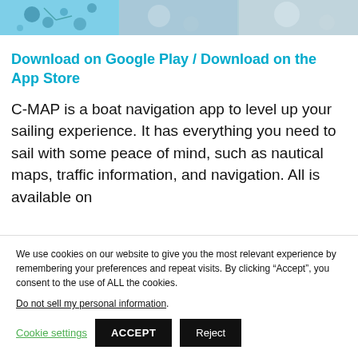[Figure (photo): Three side-by-side nautical/marine themed images: first shows light blue water with dark spots/circles, second shows lighter blue-grey tones, third shows light grey-blue tones.]
Download on Google Play / Download on the App Store
C-MAP is a boat navigation app to level up your sailing experience. It has everything you need to sail with some peace of mind, such as nautical maps, traffic information, and navigation. All is available on
We use cookies on our website to give you the most relevant experience by remembering your preferences and repeat visits. By clicking “Accept”, you consent to the use of ALL the cookies.
Do not sell my personal information.
Cookie settings  ACCEPT  Reject